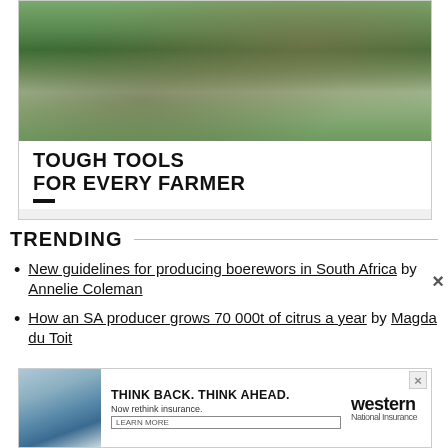[Figure (photo): Advertisement photo showing a farmer/man sitting on a log using a STIHL brush cutter or trimmer outdoors in a grassy field. Orange STIHL bar at top.]
TOUGH TOOLS FOR EVERY FARMER
TRENDING
New guidelines for producing boerewors in South Africa by Annelie Coleman
How an SA producer grows 70 000t of citrus a year by Magda du Toit
[Figure (photo): Western insurance advertisement: 'THINK BACK. THINK AHEAD. Now rethink insurance. LEARN MORE' with photo of irrigation equipment and Western logo.]